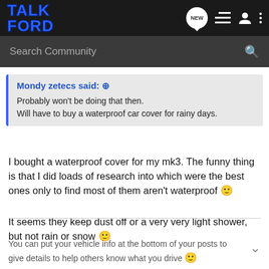TALK FORD
Search Community
Mondy zetecs said: ↑
Probably won't be doing that then.
Will have to buy a waterproof car cover for rainy days.
I bought a waterproof cover for my mk3. The funny thing is that I did loads of research into which were the best ones only to find most of them aren't waterproof 🙂
It seems they keep dust off or a very very light shower, but not rain or snow 🙂
You can put your vehicle info at the bottom of your posts to give details to help others know what you drive 🙂